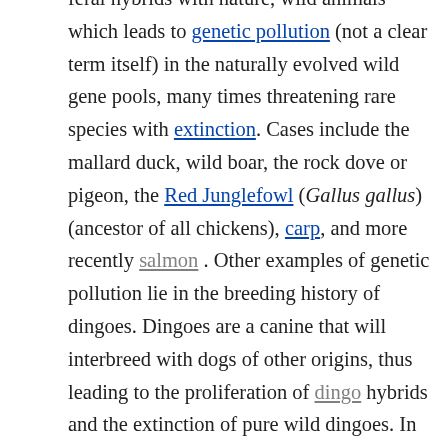feral hybrids with nature, wild animals which leads to genetic pollution (not a clear term itself) in the naturally evolved wild gene pools, many times threatening rare species with extinction. Cases include the mallard duck, wild boar, the rock dove or pigeon, the Red Junglefowl (Gallus gallus) (ancestor of all chickens), carp, and more recently salmon . Other examples of genetic pollution lie in the breeding history of dingoes. Dingoes are a canine that will interbreed with dogs of other origins, thus leading to the proliferation of dingo hybrids and the extinction of pure wild dingoes. In some cases like rabbits, genetic pollution seems not to be noticed. There is much debate over the degree to which feral hybridization compromises the purity of a wild species. In the case of the mallard, for example, some claim there